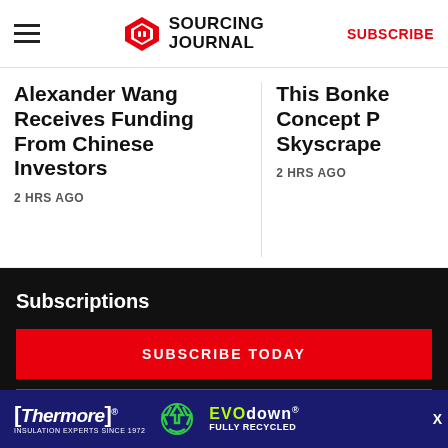Sourcing Journal — SUBSCRIBE
Alexander Wang Receives Funding From Chinese Investors
2 HRS AGO
This Bonkers Concept Pa... Skyscraper...
2 HRS AGO
Subscriptions
SUBSCRIBE TODAY
LOG IN
MEMBERSHIP FAQ
[Figure (advertisement): Thermore Insulation Experts Since 1972 and EVO down Fully Recycled advertisement banner]